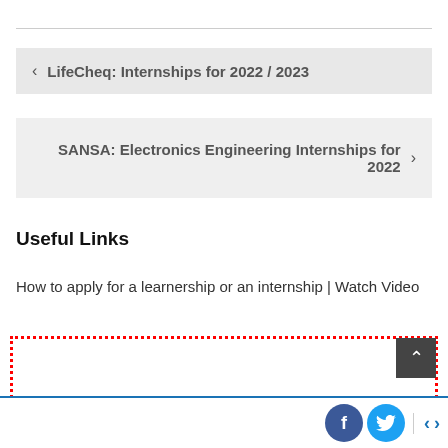< LifeCheq: Internships for 2022 / 2023
SANSA: Electronics Engineering Internships for 2022 >
Useful Links
How to apply for a learnership or an internship | Watch Video
[Figure (other): Red dotted border box with a dark scroll-to-top button (chevron up arrow) in the top-right corner]
Social share icons (Facebook, Twitter) and navigation arrows